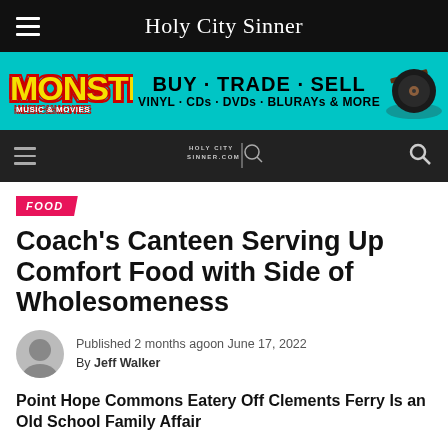Holy City Sinner
[Figure (infographic): Monster Music & Movies advertisement banner: BUY - TRADE - SELL / VINYL · CDs · DVDs · BLURAYs & MORE on teal background]
Holy City Sinner (secondary navigation bar with logo and search)
FOOD
Coach's Canteen Serving Up Comfort Food with Side of Wholesomeness
Published 2 months agoon June 17, 2022
By Jeff Walker
Point Hope Commons Eatery Off Clements Ferry Is an Old School Family Affair